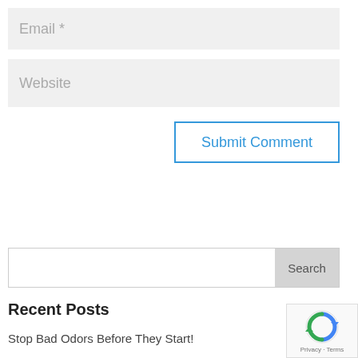Email *
Website
Submit Comment
Search
Recent Posts
Stop Bad Odors Before They Start!
[Figure (logo): reCAPTCHA badge with Privacy and Terms text]